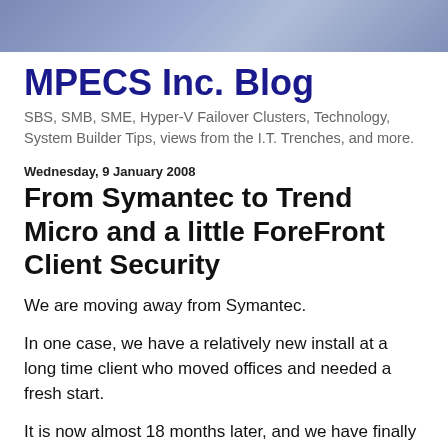[Figure (photo): Dark blue/grey header image background for blog]
MPECS Inc. Blog
SBS, SMB, SME, Hyper-V Failover Clusters, Technology, System Builder Tips, views from the I.T. Trenches, and more.
Wednesday, 9 January 2008
From Symantec to Trend Micro and a little ForeFront Client Security
We are moving away from Symantec.
In one case, we have a relatively new install at a long time client who moved offices and needed a fresh start.
It is now almost 18 months later, and we have finally worked out getting the Symantec licensing .slf file problems worked out ... almost. The management console keeps telling us that certain clients are in license violation mode and won't update the client's definition files when this happens. And there are